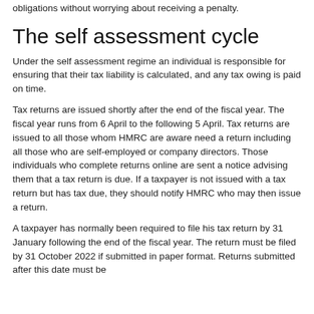obligations without worrying about receiving a penalty.
The self assessment cycle
Under the self assessment regime an individual is responsible for ensuring that their tax liability is calculated, and any tax owing is paid on time.
Tax returns are issued shortly after the end of the fiscal year. The fiscal year runs from 6 April to the following 5 April. Tax returns are issued to all those whom HMRC are aware need a return including all those who are self-employed or company directors. Those individuals who complete returns online are sent a notice advising them that a tax return is due. If a taxpayer is not issued with a tax return but has tax due, they should notify HMRC who may then issue a return.
A taxpayer has normally been required to file his tax return by 31 January following the end of the fiscal year. The return must be filed by 31 October 2022 if submitted in paper format. Returns submitted after this date must be...